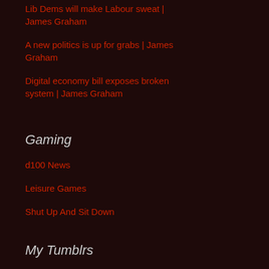Lib Dems will make Labour sweat | James Graham
A new politics is up for grabs | James Graham
Digital economy bill exposes broken system | James Graham
Gaming
d100 News
Leisure Games
Shut Up And Sit Down
My Tumblrs